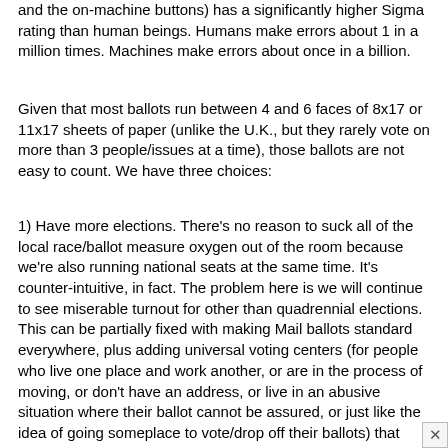and the on-machine buttons) has a significantly higher Sigma rating than human beings. Humans make errors about 1 in a million times. Machines make errors about once in a billion.
Given that most ballots run between 4 and 6 faces of 8x17 or 11x17 sheets of paper (unlike the U.K., but they rarely vote on more than 3 people/issues at a time), those ballots are not easy to count. We have three choices:
1) Have more elections. There's no reason to suck all of the local race/ballot measure oxygen out of the room because we're also running national seats at the same time. It's counter-intuitive, in fact. The problem here is we will continue to see miserable turnout for other than quadrennial elections. This can be partially fixed with making Mail ballots standard everywhere, plus adding universal voting centers (for people who live one place and work another, or are in the process of moving, or don't have an address, or live in an abusive situation where their ballot cannot be assured, or just like the idea of going someplace to vote/drop off their ballots) that make all voter rolls always open to everyone at every polling place. (For which we need to trust the idea of universal print on demand ballots and an open-access, read only voter database, and purple hands. A Lot of Sec States will hate that, and bye-bye voting privacy, because there will be employers who fire people *with* purple hands, and those who fire those *without*.) More elections also minimizes the targets of any one election, which means we can focus more operational security on the Federals. But more elections means we have to pay for it. Good luck with that. One third of this